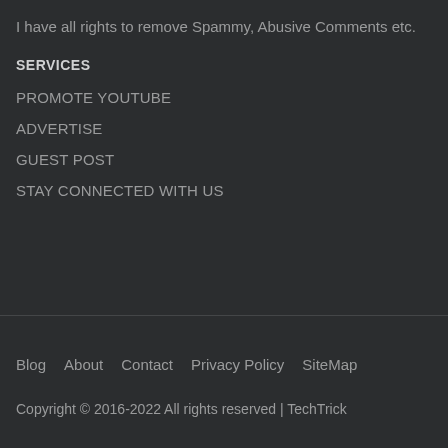I have all rights to remove Spammy, Abusive Comments etc.
SERVICES
PROMOTE YOUTUBE
ADVERTISE
GUEST POST
STAY CONNECTED WITH US
Blog   About   Contact   Privacy Policy   SiteMap
Copyright © 2016-2022 All rights reserved | TechTrick